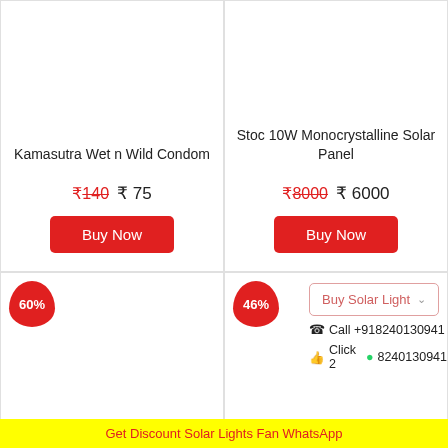Kamasutra Wet n Wild Condom
₹140  ₹ 75
Buy Now
Stoc 10W Monocrystalline Solar Panel
₹8000  ₹ 6000
Buy Now
60%
46%
Buy Solar Light ▾
☎ Call +918240130941
👍 Click 2 💬 8240130941
Get Discount Solar Lights Fan WhatsApp